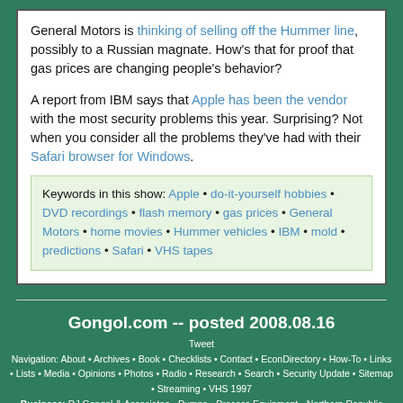General Motors is thinking of selling off the Hummer line, possibly to a Russian magnate. How's that for proof that gas prices are changing people's behavior?
A report from IBM says that Apple has been the vendor with the most security problems this year. Surprising? Not when you consider all the problems they've had with their Safari browser for Windows.
Keywords in this show: Apple • do-it-yourself hobbies • DVD recordings • flash memory • gas prices • General Motors • home movies • Hummer vehicles • IBM • mold • predictions • Safari • VHS tapes
Gongol.com -- posted 2008.08.16
Tweet
Navigation: About • Archives • Book • Checklists • Contact • EconDirectory • How-To • Links • Lists • Media • Opinions • Photos • Radio • Research • Search • Security Update • Sitemap • Streaming • VHS 1997
Business: DJ Gongol & Associates • Pumps • Process Equipment • Northern Republic
Subscriptions: RSS • Yahoo • MSN • Google • Twitter • updates by e-mail
Stores: Bookstore • Pump Store • Graphics Store • Web Hosting